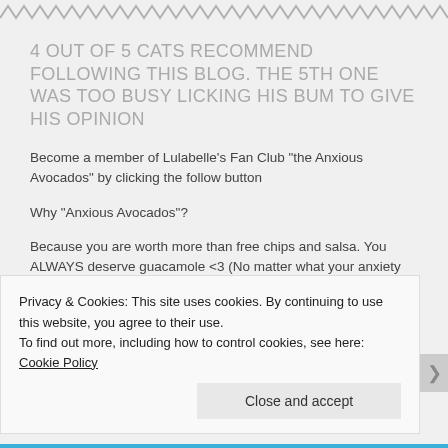[Figure (other): Zigzag/wavy decorative border at the top of the page in gray]
4 OUT OF 5 CATS RECOMMEND FOLLOWING THIS BLOG. THE 5TH ONE WAS TOO BUSY LICKING HIS BUM TO GIVE HIS OPINION
Become a member of Lulabelle's Fan Club "the Anxious Avocados" by clicking the follow button
Why "Anxious Avocados"?
Because you are worth more than free chips and salsa. You ALWAYS deserve guacamole <3 (No matter what your anxiety tells you)
Privacy & Cookies: This site uses cookies. By continuing to use this website, you agree to their use.
To find out more, including how to control cookies, see here: Cookie Policy
Close and accept